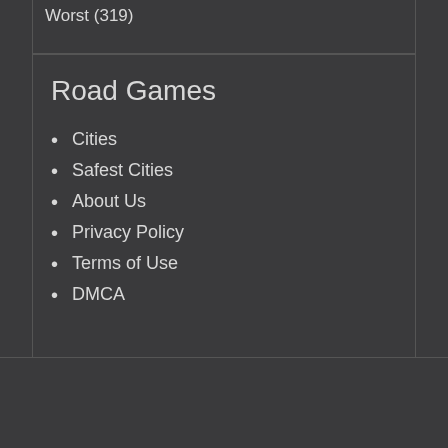Worst (319)
Road Games
Cities
Safest Cities
About Us
Privacy Policy
Terms of Use
DMCA